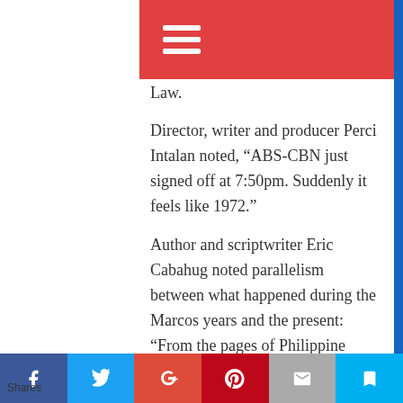Navigation menu bar (hamburger icon)
Law.
Director, writer and producer Perci Intalan noted, “ABS-CBN just signed off at 7:50pm. Suddenly it feels like 1972.”
Author and scriptwriter Eric Cabahug noted parallelism between what happened during the Marcos years and the present: “From the pages of Philippine history: The last time ABS-CBN was forced to go off air, a dictator was ousted. And a widow took over.”
Producer and director Atty. Joji Alonso also had a feeling of deja vu: “Abs-cbn just signed off. It’s like deja vu – that 70s feels all over again. What
Shares  [Facebook] [Twitter] [Google+] [Pinterest] [Email] [Bookmark]